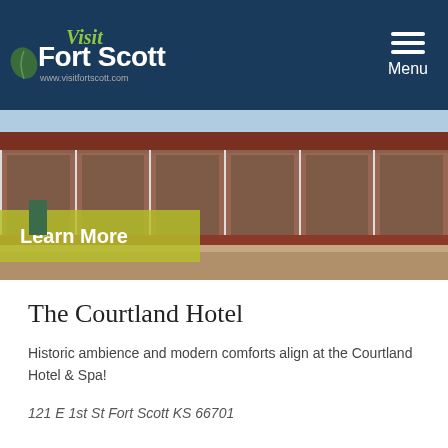Visit Fort Scott — www.visitfortscott.com | Menu
[Figure (photo): Exterior photo of The Courtland Hotel, a historic brick building with storefront windows and green door frames, street level view with brick sidewalk. Overlaid with a yellow-green 'Learn More' button.]
The Courtland Hotel
Historic ambience and modern comforts align at the Courtland Hotel & Spa!
121 E 1st St Fort Scott KS 66701